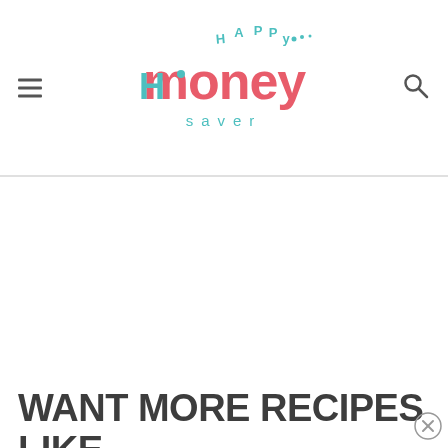Happy Money Saver - navigation header with logo, hamburger menu, and search icon
[Figure (logo): Happy Money Saver logo with teal and coral/red lettering, decorative dots]
WANT MORE RECIPES LIKE THIS?